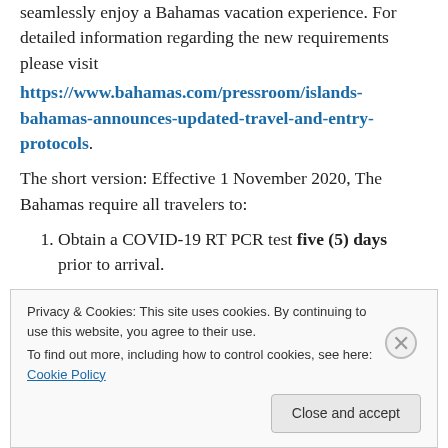seamlessly enjoy a Bahamas vacation experience. For detailed information regarding the new requirements please visit
https://www.bahamas.com/pressroom/islands-bahamas-announces-updated-travel-and-entry-protocols.
The short version: Effective 1 November 2020, The Bahamas require all travelers to:
Obtain a COVID-19 RT PCR test five (5) days prior to arrival.
Privacy & Cookies: This site uses cookies. By continuing to use this website, you agree to their use. To find out more, including how to control cookies, see here: Cookie Policy
Close and accept